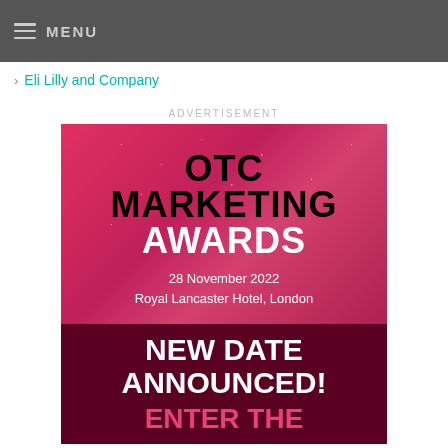MENU
Eli Lilly and Company
ADVERTISEMENT
[Figure (illustration): OTC Marketing Awards advertisement banner. Pink/red gradient top section with sparkle dots showing 'OTC MARKETING AWARDS' in large bold text, dated '28 November 2022, Royal Lancaster Hotel, London'. Dark maroon bottom section with 'NEW DATE ANNOUNCED! ENTER THE' text.]